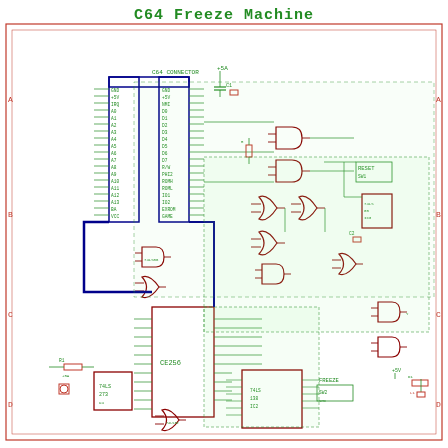C64 Freeze Machine
[Figure (circuit-diagram): Electronic schematic for the C64 Freeze Machine. Shows a complex circuit with a C64 connector (large dual-row IC/connector symbol in blue outline at center-left), multiple logic gates (AND gates, OR gates, NAND gates in dark red), ICs (labeled CE256 and another chip at bottom center), discrete components (capacitors, resistors, LED), interconnecting signal lines in green, power rails, and labeled nets. Component blocks include RESET button, FREEZE button, and various labeled signals. The schematic is drawn on a light background with a red border frame with lettered row markers (A, B, C, D) on left and right sides.]